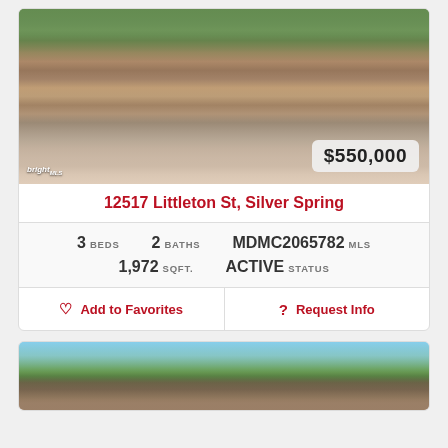[Figure (photo): Exterior photo of brick house at 12517 Littleton St, Silver Spring with landscaped front yard, price badge showing $550,000]
12517 Littleton St, Silver Spring
3 BEDS  2 BATHS  MDMC2065782 MLS  1,972 SQFT.  ACTIVE STATUS
Add to Favorites   Request Info
[Figure (photo): Exterior photo of another property showing trees and rooftop against blue sky]